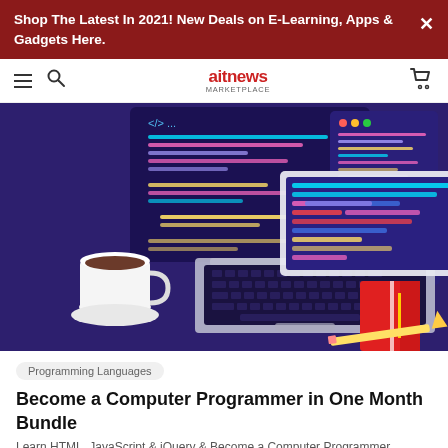Shop The Latest In 2021! New Deals on E-Learning, Apps & Gadgets Here.
[Figure (logo): aitnews logo in navigation bar with hamburger menu, search icon, and cart icon]
[Figure (illustration): Hero illustration of a laptop with colorful code editor screens floating above it on a dark purple/indigo background, with a coffee cup on the left and a red notebook and pencil on the right]
Programming Languages
Become a Computer Programmer in One Month Bundle
Learn HTML, JavaScript & jQuery & Become a Computer Programmer